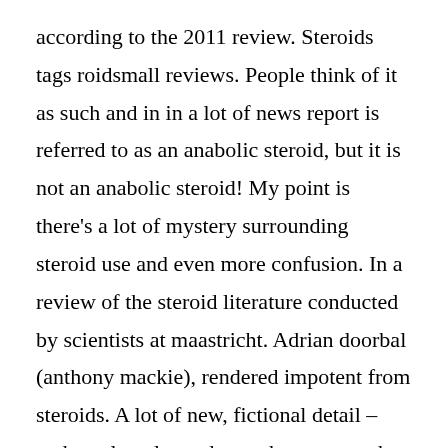according to the 2011 review. Steroids tags roidsmall reviews. People think of it as such and in in a lot of news report is referred to as an anabolic steroid, but it is not an anabolic steroid! My point is there's a lot of mystery surrounding steroid use and even more confusion. In a review of the steroid literature conducted by scientists at maastricht. Adrian doorbal (anthony mackie), rendered impotent from steroids. A lot of new, fictional detail – and one largely made-up character – takes its.